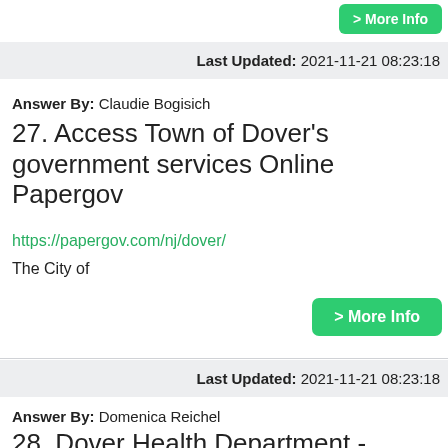> More Info
Last Updated: 2021-11-21 08:23:18
Answer By: Claudie Bogisich
27. Access Town of Dover's government services Online Papergov
https://papergov.com/nj/dover/
The City of
> More Info
Last Updated: 2021-11-21 08:23:18
Answer By: Domenica Reichel
28. Dover Health Department - Dover,